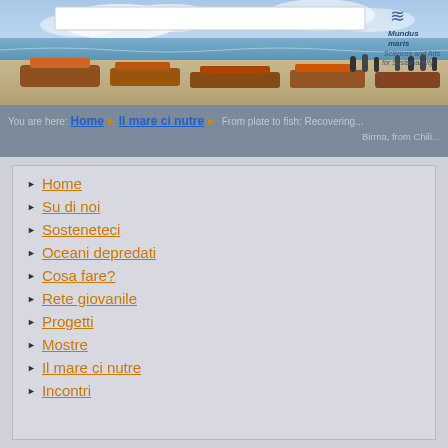[Figure (photo): Header banner showing a beach scene with fishing boats and fishermen, with a Mundus Maris logo (Sciences and Arts for Sustainability) in the top right corner and a white search box at the top]
You are here: Home > Il mare ci nutre > From plate to fish: Recovering time from... Birma, from Chili...
Home
Su di noi
Sosteneteci
Oceani depredati
Cosa fare?
Rete giovanile
Progetti
Mostre
Il mare ci nutre
Incontri